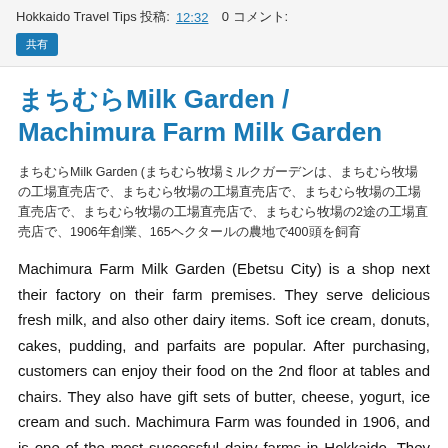Hokkaido Travel Tips 投稿: 12:32   0 コメント:
まちむらMilk Garden / Machimura Farm Milk Garden
まちむらMilk Garden (まちむら牧場ミルクガーデン) は、まちむら牧場の工場直売店で、2013年にオープン。1906年創業、165ヘクタールの農地で400頭を飼育
Machimura Farm Milk Garden (Ebetsu City) is a shop next their factory on their farm premises. They serve delicious fresh milk, and also other dairy items. Soft ice cream, donuts, cakes, pudding, and parfaits are popular. After purchasing, customers can enjoy their food on the 2nd floor at tables and chairs. They also have gift sets of butter, cheese, yogurt, ice cream and such. Machimura Farm was founded in 1906, and is one of the most successful dairy farms in Hokkaido. They have about 400 head of dairy cattle grazing on 165 hectares. See their website for details, including their seasonal